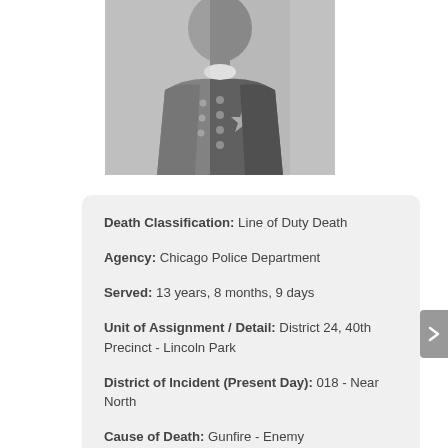[Figure (photo): Black and white photograph of a police officer in uniform with a badge, shown from chest up.]
Death Classification: Line of Duty Death
Agency: Chicago Police Department
Served: 13 years, 8 months, 9 days
Unit of Assignment / Detail: District 24, 40th Precinct - Lincoln Park
District of Incident (Present Day): 018 - Near North
Cause of Death: Gunfire - Enemy